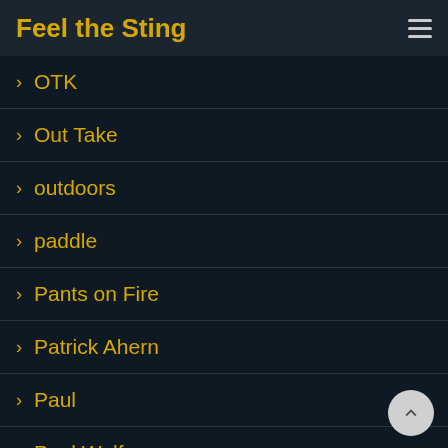Feel the Sting
> OTK
> Out Take
> outdoors
> paddle
> Pants on Fire
> Patrick Ahern
> Paul
> Paul Wolfe
> Paul's Bad Report
> Pavel Novy
> Penalty